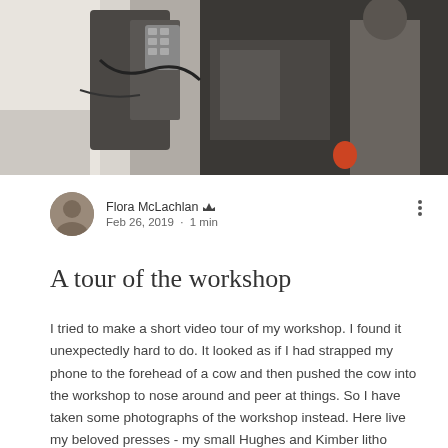[Figure (photo): Workshop interior photograph showing printing press equipment, machines and people in a studio environment]
Flora McLachlan ♛
Feb 26, 2019 · 1 min
A tour of the workshop
I tried to make a short video tour of my workshop. I found it unexpectedly hard to do. It looked as if I had strapped my phone to the forehead of a cow and then pushed the cow into the workshop to nose around and peer at things. So I have taken some photographs of the workshop instead. Here live my beloved presses - my small Hughes and Kimber litho press, my large Rochat etching press and my large Furnival direct litho press with its 30 stones of various sizes. My aquatint bo